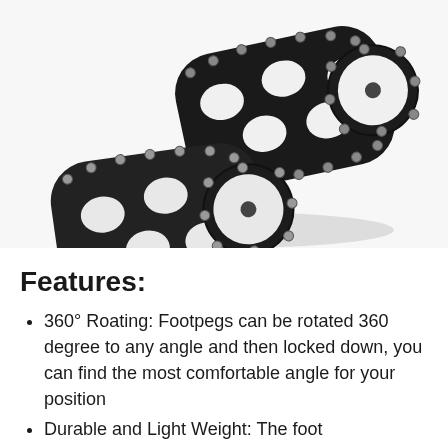[Figure (photo): Two black aluminum motorcycle footpegs with studded edges and cut-out patterns, photographed on white background]
Features:
360° Roating: Footpegs can be rotated 360 degree to any angle and then locked down, you can find the most comfortable angle for your position
Durable and Light Weight: The foot